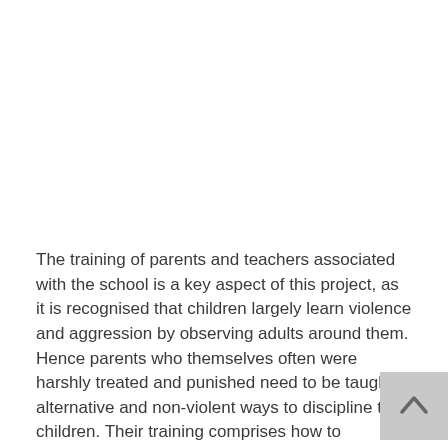The training of parents and teachers associated with the school is a key aspect of this project, as it is recognised that children largely learn violence and aggression by observing adults around them. Hence parents who themselves often were harshly treated and punished need to be taught alternative and non-violent ways to discipline their children. Their training comprises how to introduce positive discipline, how to prevent interpersonal violence and how to prevent bullying.
Another upcoming workshop targets adolescents, teaching them how to recognise and avoid pedophiles. Peer advocacy is part of